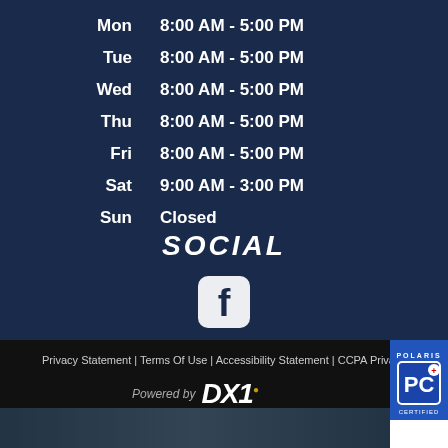| Day | Hours |
| --- | --- |
| Mon | 8:00 AM - 5:00 PM |
| Tue | 8:00 AM - 5:00 PM |
| Wed | 8:00 AM - 5:00 PM |
| Thu | 8:00 AM - 5:00 PM |
| Fri | 8:00 AM - 5:00 PM |
| Sat | 9:00 AM - 3:00 PM |
| Sun | Closed |
SOCIAL
[Figure (logo): Facebook icon]
Privacy Statement | Terms Of Use | Accessibility Statement | CCPA Privacy
Powered by DX1
[Figure (logo): Polaris PC badge]